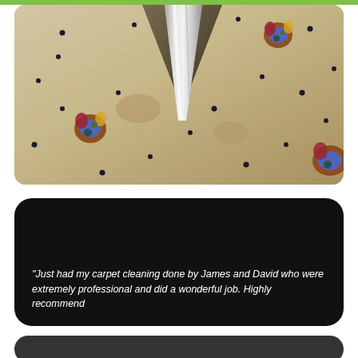[Figure (photo): Close-up photo of a cream/beige patterned carpet being cleaned with a metal carpet cleaning wand/tool. The carpet has small dark floral/dot patterns and some stained areas visible. A shiny metal steam cleaning nozzle is visible in the upper-center area.]
“Just had my carpet cleaning done by James and David who were extremely professional and did a wonderful job. Highly recommend
[Figure (other): Dark rounded rectangle - bottom of another review card partially visible]